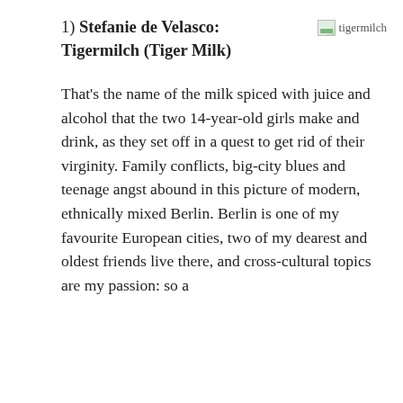1) Stefanie de Velasco: Tigermilch (Tiger Milk)
[Figure (photo): Broken image placeholder labeled 'tigermilch']
That's the name of the milk spiced with juice and alcohol that the two 14-year-old girls make and drink, as they set off in a quest to get rid of their virginity. Family conflicts, big-city blues and teenage angst abound in this picture of modern, ethnically mixed Berlin. Berlin is one of my favourite European cities, two of my dearest and oldest friends live there, and cross-cultural topics are my passion: so a